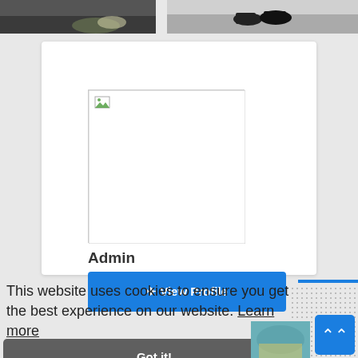[Figure (photo): Top strip showing two partial photos: left shows person with flowers/wedding scene, right shows black shoes/feet]
[Figure (photo): Broken image placeholder in white card (profile photo not loaded)]
Admin
View Profile
This website uses cookies to ensure you get the best experience on our website. Learn more
Got it!
[Figure (photo): Bottom right partial photo showing colorful scene]